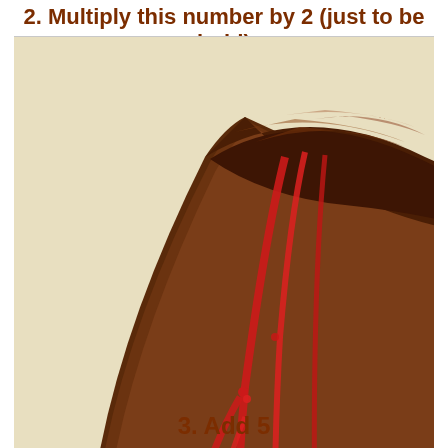2. Multiply this number by 2 (just to be bold)
[Figure (photo): A slice of chocolate pie with a graham cracker crust, topped with glossy chocolate ganache and red berry sauce drizzled over, served on a white plate]
3. Add 5